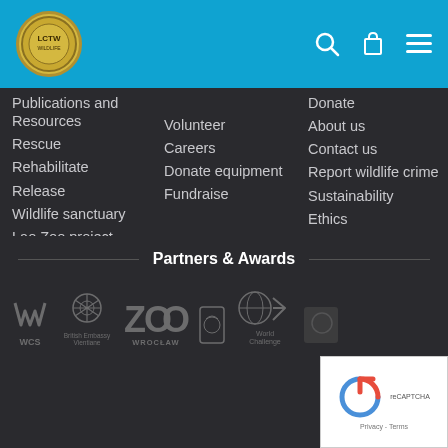[Figure (logo): LCTW circular logo on blue navigation bar]
Publications and Resources
Volunteer
Rescue
Careers
Rehabilitate
Donate equipment
Release
Fundraise
Wildlife sanctuary
Donate
About us
Lao Zoo project
Contact us
Conservation
Report wildlife crime
Education
Sustainability
Capacity building
Ethics
Privacy & cookie policy
Partners & Awards
[Figure (logo): Partner logos: WCS, British Embassy Vientiane, Zoo Wroclaw, another logo, World Challenge, and a partially visible logo]